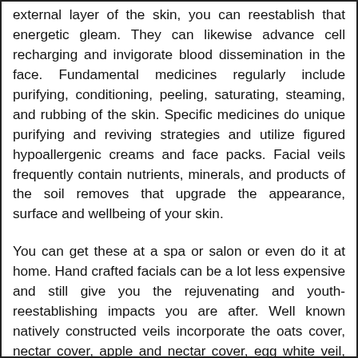external layer of the skin, you can reestablish that energetic gleam. They can likewise advance cell recharging and invigorate blood dissemination in the face. Fundamental medicines regularly include purifying, conditioning, peeling, saturating, steaming, and rubbing of the skin. Specific medicines do unique purifying and reviving strategies and utilize figured hypoallergenic creams and face packs. Facial veils frequently contain nutrients, minerals, and products of the soil removes that upgrade the appearance, surface and wellbeing of your skin.
You can get these at a spa or salon or even do it at home. Hand crafted facials can be a lot less expensive and still give you the rejuvenating and youth-reestablishing impacts you are after. Well known natively constructed veils incorporate the oats cover, nectar cover, apple and nectar cover, egg white veil, preparing soft drink cover, avocado veil, papaya cover,